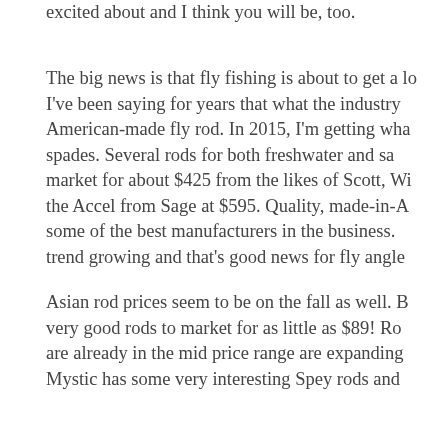excited about and I think you will be, too.
The big news is that fly fishing is about to get a lo I've been saying for years that what the industry American-made fly rod. In 2015, I'm getting what spades. Several rods for both freshwater and sa market for about $425 from the likes of Scott, Wi the Accel from Sage at $595. Quality, made-in-A some of the best manufacturers in the business. trend growing and that's good news for fly angle
Asian rod prices seem to be on the fall as well. B very good rods to market for as little as $89! Ro are already in the mid price range are expanding Mystic has some very interesting Spey rods and